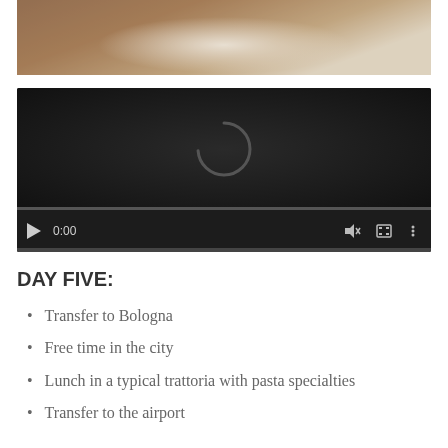[Figure (photo): Partial view of people dining at a round table with white tablecloth, plates, and food]
[Figure (screenshot): Video player with dark background showing a loading spinner arc, play button, 0:00 timestamp, volume icon, fullscreen icon, and more options icon]
DAY FIVE:
Transfer to Bologna
Free time in the city
Lunch in a typical trattoria with pasta specialties
Transfer to the airport